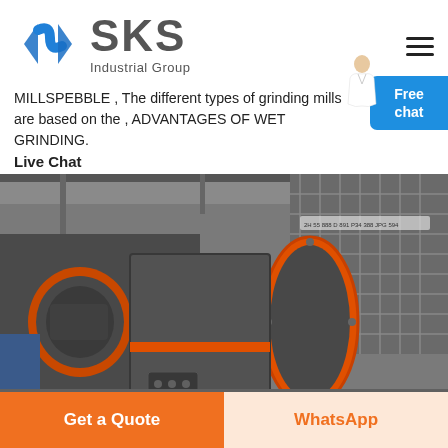[Figure (logo): SKS Industrial Group logo with blue diamond/arrow icon and text SKS in gray, subtitle Industrial Group]
MILLSPEBBLE , The different types of grinding mills are based on the , ADVANTAGES OF WET GRINDING.
Live Chat
[Figure (photo): Industrial grinding mill equipment, large gray metal cylindrical mill with orange seals, inside a warehouse]
Get a Quote
WhatsApp